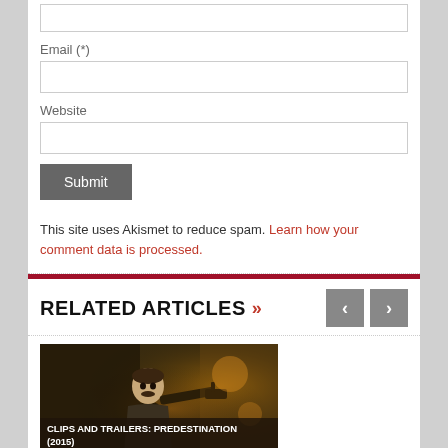Email (*)
Website
Submit
This site uses Akismet to reduce spam. Learn how your comment data is processed.
RELATED ARTICLES »
[Figure (photo): Movie still from Predestination (2015) showing a man with a gun]
CLIPS AND TRAILERS: PREDESTINATION (2015)